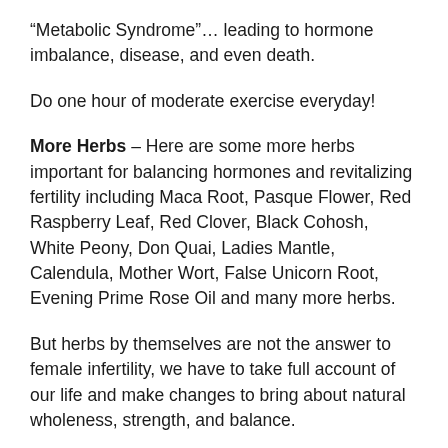“Metabolic Syndrome”… leading to hormone imbalance, disease, and even death.
Do one hour of moderate exercise everyday!
More Herbs – Here are some more herbs important for balancing hormones and revitalizing fertility including Maca Root, Pasque Flower, Red Raspberry Leaf, Red Clover, Black Cohosh, White Peony, Don Quai, Ladies Mantle, Calendula, Mother Wort, False Unicorn Root, Evening Prime Rose Oil and many more herbs.
But herbs by themselves are not the answer to female infertility, we have to take full account of our life and make changes to bring about natural wholeness, strength, and balance.